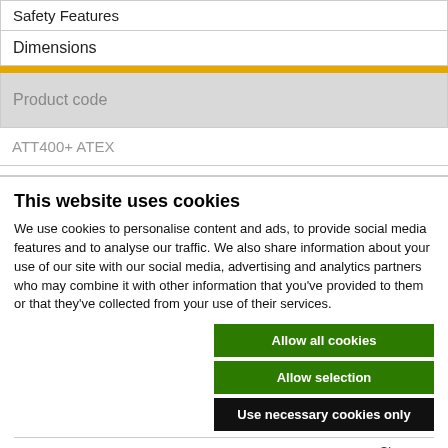Safety Features
Dimensions
Product code
ATT400+ ATEX
This website uses cookies
We use cookies to personalise content and ads, to provide social media features and to analyse our traffic. We also share information about your use of our site with our social media, advertising and analytics partners who may combine it with other information that you've provided to them or that they've collected from your use of their services.
Allow all cookies
Allow selection
Use necessary cookies only
Necessary  Preferences  Statistics  Marketing  Show details